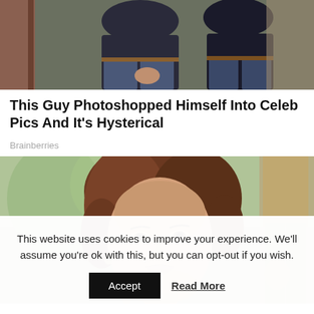[Figure (photo): Two people sitting, partial view from waist down, wearing jeans and dark clothing, against a wooden background]
This Guy Photoshopped Himself Into Celeb Pics And It's Hysterical
Brainberries
[Figure (photo): Close-up portrait of a woman with auburn/brown voluminous 1960s-style hair, smiling slightly, outdoors with blurred green background and another figure visible on right]
This website uses cookies to improve your experience. We'll assume you're ok with this, but you can opt-out if you wish.
Accept  Read More